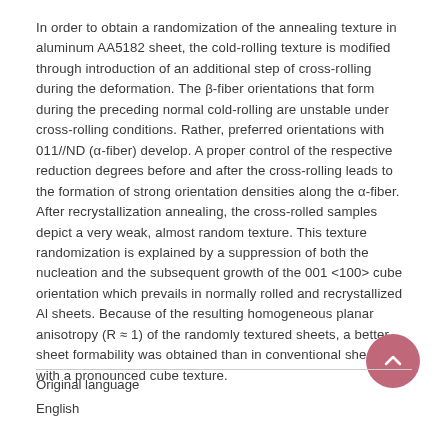In order to obtain a randomization of the annealing texture in aluminum AA5182 sheet, the cold-rolling texture is modified through introduction of an additional step of cross-rolling during the deformation. The β-fiber orientations that form during the preceding normal cold-rolling are unstable under cross-rolling conditions. Rather, preferred orientations with 011//ND (α-fiber) develop. A proper control of the respective reduction degrees before and after the cross-rolling leads to the formation of strong orientation densities along the α-fiber. After recrystallization annealing, the cross-rolled samples depict a very weak, almost random texture. This texture randomization is explained by a suppression of both the nucleation and the subsequent growth of the 001 <100> cube orientation which prevails in normally rolled and recrystallized Al sheets. Because of the resulting homogeneous planar anisotropy (R ≈ 1) of the randomly textured sheets, a better sheet formability was obtained than in conventional sheets with a pronounced cube texture.
Original language
English